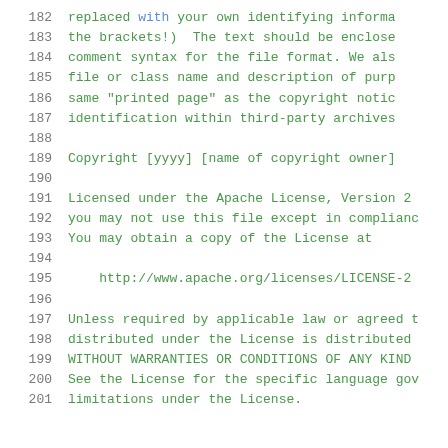182    replaced with your own identifying informa
183    the brackets!)  The text should be enclose
184    comment syntax for the file format. We als
185    file or class name and description of purp
186    same "printed page" as the copyright notic
187    identification within third-party archives
188
189    Copyright [yyyy] [name of copyright owner]
190
191    Licensed under the Apache License, Version 2
192    you may not use this file except in complianc
193    You may obtain a copy of the License at
194
195        http://www.apache.org/licenses/LICENSE-2
196
197    Unless required by applicable law or agreed t
198    distributed under the License is distributed
199    WITHOUT WARRANTIES OR CONDITIONS OF ANY KIND
200    See the License for the specific language gov
201    limitations under the License.